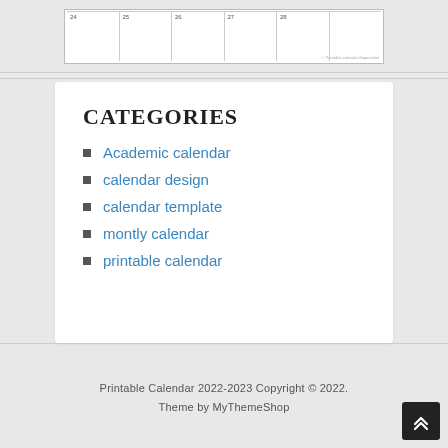[Figure (other): Partial calendar grid showing column headers with numbers, white background with border]
CATEGORIES
Academic calendar
calendar design
calendar template
montly calendar
printable calendar
Printable Calendar 2022-2023 Copyright © 2022. Theme by MyThemeShop